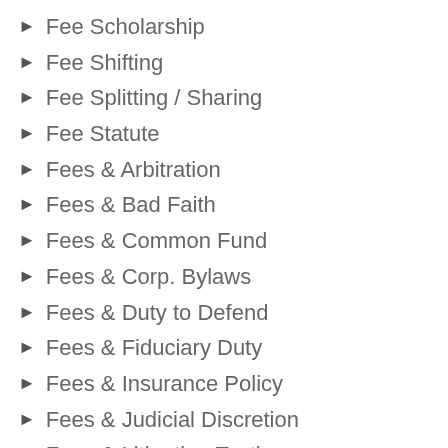Fee Scholarship
Fee Shifting
Fee Splitting / Sharing
Fee Statute
Fees & Arbitration
Fees & Bad Faith
Fees & Common Fund
Fees & Corp. Bylaws
Fees & Duty to Defend
Fees & Fiduciary Duty
Fees & Insurance Policy
Fees & Judicial Discretion
Fees & Litigation Tactics
Fees & Misconduct
Fees & Privilege / Confidentaility
Fees & Pro Bono